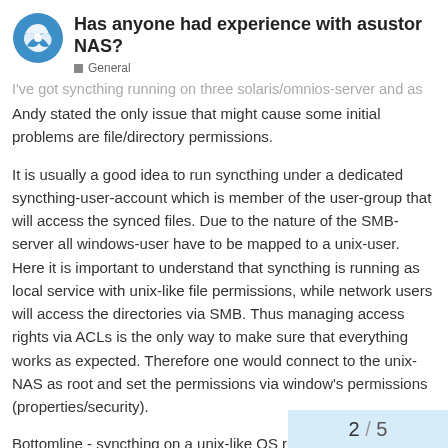Has anyone had experience with asustor NAS?
General
I've got syncthing running on three solaris/omnios-server and as
Andy stated the only issue that might cause some initial problems are file/directory permissions.
It is usually a good idea to run syncthing under a dedicated syncthing-user-account which is member of the user-group that will access the synced files. Due to the nature of the SMB-server all windows-user have to be mapped to a unix-user. Here it is important to understand that syncthing is running as local service with unix-like file permissions, while network users will access the directories via SMB. Thus managing access rights via ACLs is the only way to make sure that everything works as expected. Therefore one would connect to the unix-NAS as root and set the permissions via window's permissions (properties/security).
Bottomline - syncthing on a unix-like OS runs rock-solid, but demands from the user more skills and knowledge about the OS than on windows!
2 / 5